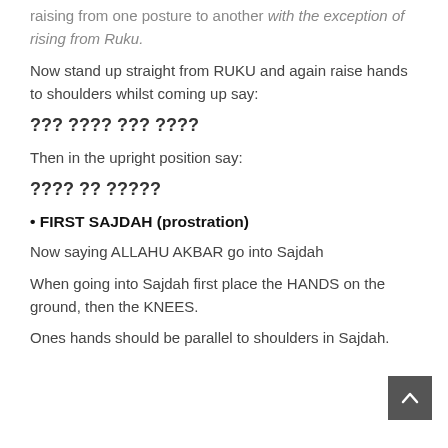raising from one posture to another with the exception of rising from Ruku.
Now stand up straight from RUKU and again raise hands to shoulders whilst coming up say:
??? ???? ??? ????
Then in the upright position say:
???? ?? ?????
• FIRST SAJDAH (prostration)
Now saying ALLAHU AKBAR go into Sajdah
When going into Sajdah first place the HANDS on the ground, then the KNEES.
Ones hands should be parallel to shoulders in Sajdah.